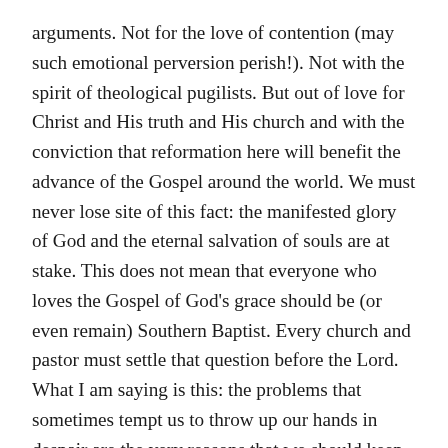arguments. Not for the love of contention (may such emotional perversion perish!). Not with the spirit of theological pugilists. But out of love for Christ and His truth and His church and with the conviction that reformation here will benefit the advance of the Gospel around the world. We must never lose site of this fact: the manifested glory of God and the eternal salvation of souls are at stake. This does not mean that everyone who loves the Gospel of God's grace should be (or even remain) Southern Baptist. Every church and pastor must settle that question before the Lord. What I am saying is this: the problems that sometimes tempt us to throw up our hands in despair are the very reasons that we should keep laboring for biblical reformation.
Here is the article I wrote. May God raise up a mighty